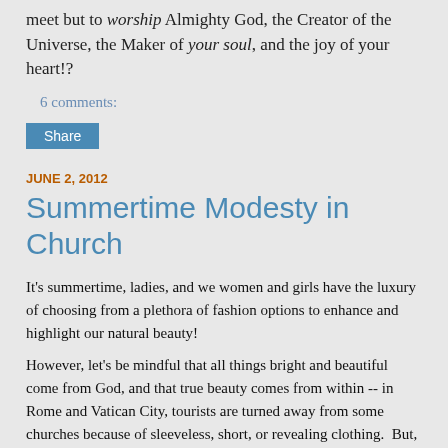meet but to worship Almighty God, the Creator of the Universe, the Maker of your soul, and the joy of your heart!?
6 comments:
Share
JUNE 2, 2012
Summertime Modesty in Church
It's summertime, ladies, and we women and girls have the luxury of choosing from a plethora of fashion options to enhance and highlight our natural beauty!
However, let's be mindful that all things bright and beautiful come from God, and that true beauty comes from within -- in Rome and Vatican City, tourists are turned away from some churches because of sleeveless, short, or revealing clothing.  But, here in the 'States, there seems to be a lesser regard for the sanctity of holy space and the Real Presence of Jesus Christ in the Eucharist.
I mean, seriously -- do my husband and sons really need to see a girl's bare shoulders, bare arms, and bare thighs that are right in front of them and